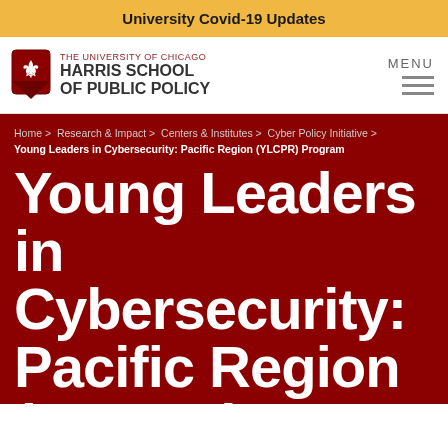University Covid-19 Updates
[Figure (logo): The University of Chicago Harris School of Public Policy logo with shield emblem]
Home > Research & Impact > Centers & Institutes > Cyber Policy Initiative > Young Leaders in Cybersecurity: Pacific Region (YLCPR) Program
Young Leaders in Cybersecurity: Pacific Region (YLCPR)